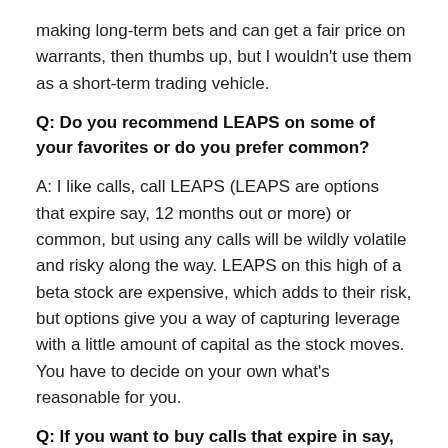making long-term bets and can get a fair price on warrants, then thumbs up, but I wouldn't use them as a short-term trading vehicle.
Q: Do you recommend LEAPS on some of your favorites or do you prefer common?
A: I like calls, call LEAPS (LEAPS are options that expire say, 12 months out or more) or common, but using any calls will be wildly volatile and risky along the way. LEAPS on this high of a beta stock are expensive, which adds to their risk, but options give you a way of capturing leverage with a little amount of capital as the stock moves. You have to decide on your own what's reasonable for you.
Q: If you want to buy calls that expire in say, six months,